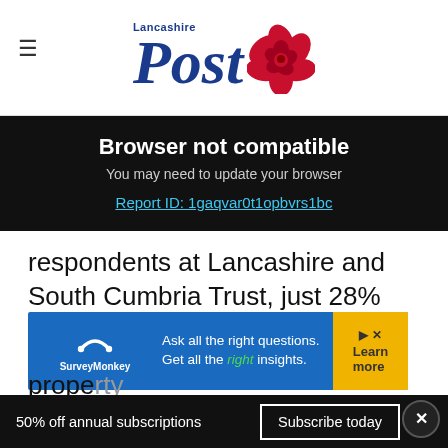Lancashire Post
Browser not compatible
You may need to update your browser
Report ID: 1gaqvar0t1opbvrs1bc
respondents at Lancashire and South Cumbria Trust, just 28% said there are enough staff at their [property]
[Figure (other): SurveyMonkey advertisement banner: Ask all the right questions. Get all the right insights. Learn more.]
50% off annual subscriptions    Subscribe today